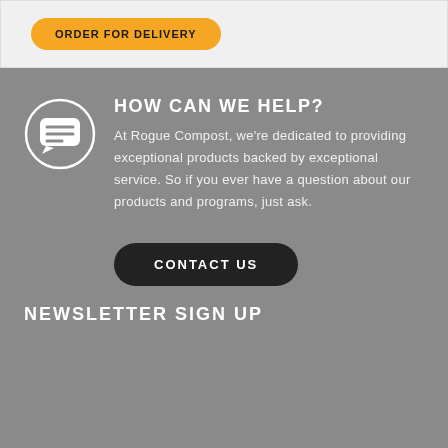[Figure (other): Yellow rounded button with text partially visible, on a light gray background section]
HOW CAN WE HELP?
At Rogue Compost, we're dedicated to providing exceptional products backed by exceptional service. So if you ever have a question about our products and programs, just ask.
CONTACT US
NEWSLETTER SIGN UP